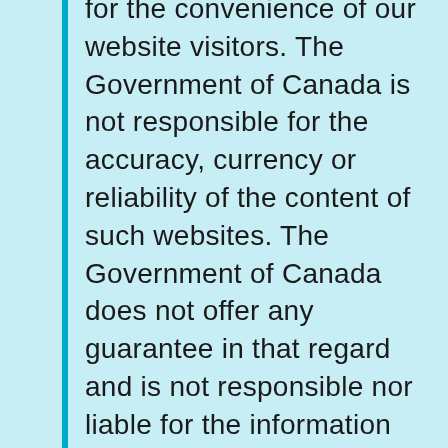for the convenience of our website visitors. The Government of Canada is not responsible for the accuracy, currency or reliability of the content of such websites. The Government of Canada does not offer any guarantee in that regard and is not responsible nor liable for the information found through these links, and does not endorse the sites nor their content. Visitors should also be aware that the